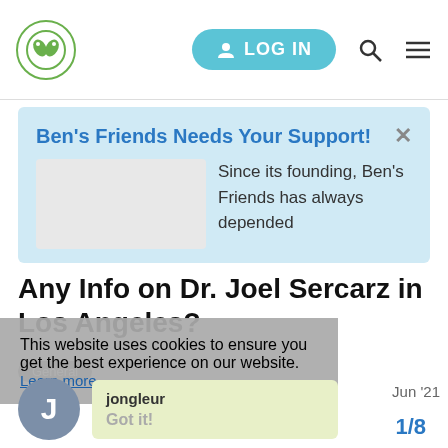LOG IN
Ben's Friends Needs Your Support!
Since its founding, Ben's Friends has always depended
Any Info on Dr. Joel Sercarz in Los Angeles?
This website uses cookies to ensure you get the best experience on our website.
Learn more
jongleur
Got it!
Jun '21
I didn't see his name on the list of ES do
I've been referred to him for ES.
1/8